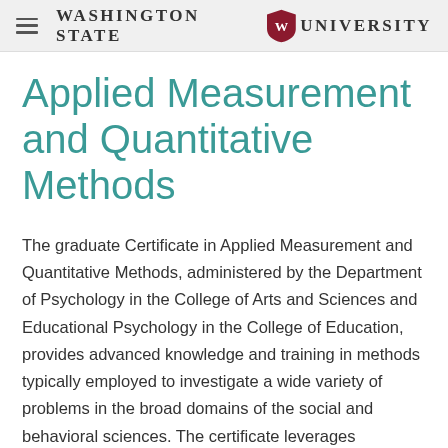Washington State University
Applied Measurement and Quantitative Methods
The graduate Certificate in Applied Measurement and Quantitative Methods, administered by the Department of Psychology in the College of Arts and Sciences and Educational Psychology in the College of Education, provides advanced knowledge and training in methods typically employed to investigate a wide variety of problems in the broad domains of the social and behavioral sciences. The certificate leverages expertise across